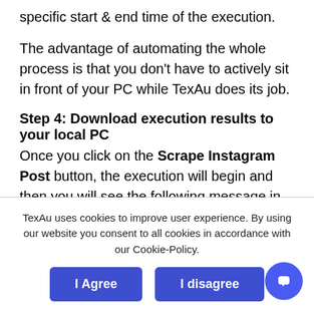specific start & end time of the execution.
The advantage of automating the whole process is that you don't have to actively sit in front of your PC while TexAu does its job.
Step 4: Download execution results to your local PC
Once you click on the Scrape Instagram Post button, the execution will begin and then you will see the following message in the execution
TexAu uses cookies to improve user experience. By using our website you consent to all cookies in accordance with our Cookie-Policy.
I Agree
I disagree